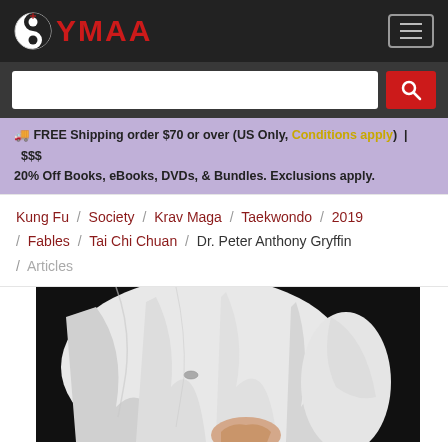[Figure (logo): YMAA logo with yin-yang symbol and red text YMAA in header bar]
[Figure (screenshot): Search bar with white input field and red search button with magnifying glass icon]
🚚 FREE Shipping order $70 or over (US Only, Conditions apply) | $$$ 20% Off Books, eBooks, DVDs, & Bundles. Exclusions apply.
Kung Fu / Society / Krav Maga / Taekwondo / 2019 / Fables / Tai Chi Chuan / Dr. Peter Anthony Gryffin / Articles
[Figure (photo): Close-up photo of a person in a white martial arts uniform (gi) on dark background, showing the torso and a raised hand]